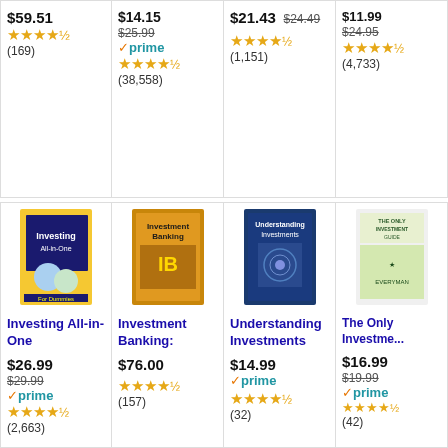$59.51 ★★★★½ (169)
$14.15 $25.99 ✓prime ★★★★½ (38,558)
$21.43 $24.49 ★★★★½ (1,151)
$11.99 $24.95 ★★★★½ (4,733)
[Figure (photo): Book cover: Investing All-in-One for Dummies]
Investing All-in-One
$26.99 $29.99 ✓prime ★★★★½ (2,663)
[Figure (photo): Book cover: Investment Banking]
Investment Banking:
$76.00 ★★★★½ (157)
[Figure (photo): Book cover: Understanding Investments]
Understanding Investments
$14.99 ✓prime ★★★★½ (32)
[Figure (photo): Book cover: The Only Investment Guide...]
The Only Investme...
$16.99 $19.99 ✓prime ★★★★½ (42)
Ads by Amazon
Articles You May Like